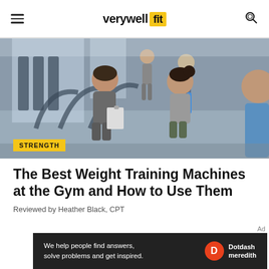verywell fit
[Figure (photo): Two people in a gym sitting near weight training machines; one person holds a clipboard. In the background, others are on treadmills.]
STRENGTH
The Best Weight Training Machines at the Gym and How to Use Them
Reviewed by Heather Black, CPT
[Figure (infographic): Dotdash Meredith advertisement banner: 'We help people find answers, solve problems and get inspired.' with Dotdash Meredith logo.]